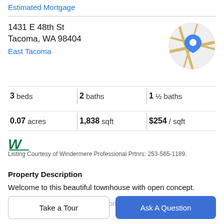Estimated Mortgage
1431 E 48th St
Tacoma, WA 98404
East Tacoma
[Figure (map): Circular map thumbnail showing street map with blue location pin marker over Tacoma area]
3 beds | 2 baths | 1 ½ baths
0.07 acres | 1,838 sqft | $254 / sqft
[Figure (logo): Windermere stylized logo mark in dark green]
Listing Courtesy of Windermere Professional Prtnrs: 253-565-1189.
Property Description
Welcome to this beautiful townhouse with open concept.
Home located in the heart of Tacoma. Details include